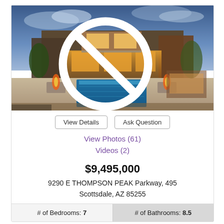[Figure (photo): Exterior photo of a luxury home with a large swimming pool, fire features, and warm indoor lighting at dusk. Stars and cancel icons visible in upper right.]
View Details   Ask Question
View Photos (61)
Videos (2)
$9,495,000
9290 E THOMPSON PEAK Parkway, 495
Scottsdale, AZ 85255
# of Bedrooms: 7
# of Bathrooms: 8.5